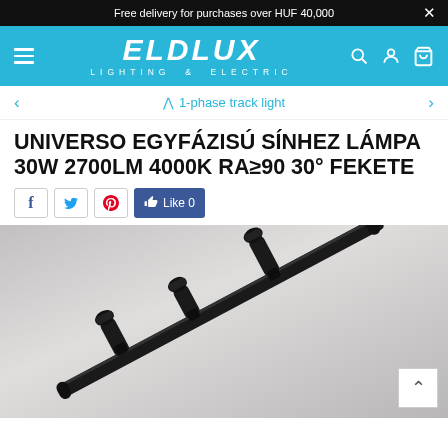Free delivery for purchases over HUF 40,000Ø ×
[Figure (logo): ELDLUX Lighting & Electric logo on cyan/blue background with hamburger menu, search, account, and cart icons]
^ 1-phase track light
UNIVERSO EGYFÁZISÚ SÍNHEZ LÁMPA 30W 2700LM 4000K RA≥90 30° FEKETE
f  t  p  👍 Like 0
[Figure (photo): Black track lighting fixture mounted on a rail, multiple spotlights, photographed against a light grey/white background]